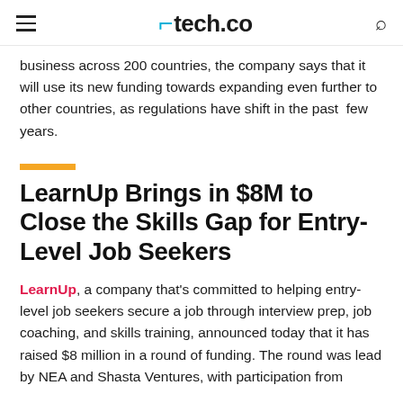tech.co
business across 200 countries, the company says that it will use its new funding towards expanding even further to other countries, as regulations have shift in the past few years.
LearnUp Brings in $8M to Close the Skills Gap for Entry-Level Job Seekers
LearnUp, a company that's committed to helping entry-level job seekers secure a job through interview prep, job coaching, and skills training, announced today that it has raised $8 million in a round of funding. The round was lead by NEA and Shasta Ventures, with participation from